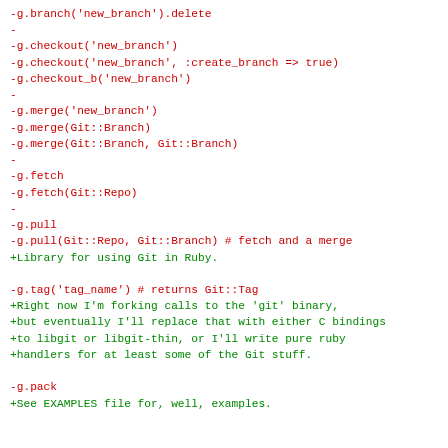-g.branch('new_branch').delete
-
-g.checkout('new_branch')
-g.checkout('new_branch', :create_branch => true)
-g.checkout_b('new_branch')
-
-g.merge('new_branch')
-g.merge(Git::Branch)
-g.merge(Git::Branch, Git::Branch)
-
-g.fetch
-g.fetch(Git::Repo)
-
-g.pull
-g.pull(Git::Repo, Git::Branch) # fetch and a merge
+Library for using Git in Ruby.

-g.tag('tag_name') # returns Git::Tag
+Right now I'm forking calls to the 'git' binary,
+but eventually I'll replace that with either C bindings
+to libgit or libgit-thin, or I'll write pure ruby
+handlers for at least some of the Git stuff.

-g.pack
+See EXAMPLES file for, well, examples.